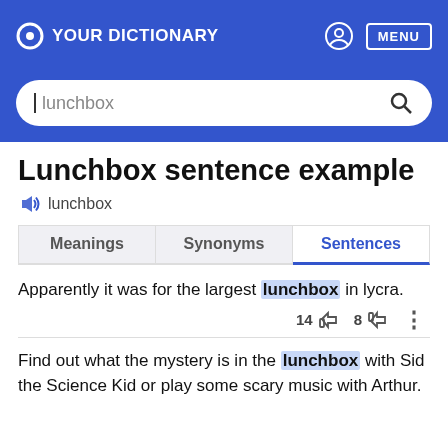YOUR DICTIONARY  MENU
lunchbox
Lunchbox sentence example
lunchbox
Meanings  Synonyms  Sentences
Apparently it was for the largest lunchbox in lycra.
14  8
Find out what the mystery is in the lunchbox with Sid the Science Kid or play some scary music with Arthur.